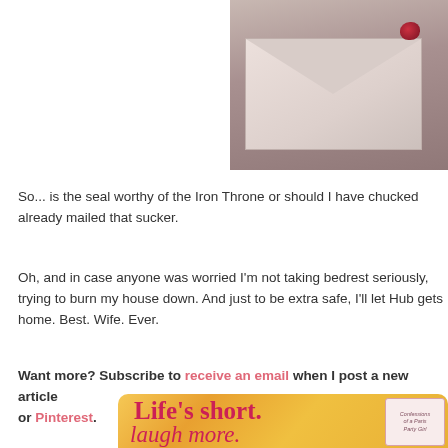[Figure (photo): A white/pink envelope with a red wax seal in the upper right corner, placed on a brown/wooden surface. Only the top portion of the envelope is visible.]
So... is the seal worthy of the Iron Throne or should I have chucked already mailed that sucker.
Oh, and in case anyone was worried I'm not taking bedrest seriously, trying to burn my house down. And just to be extra safe, I'll let Hub gets home. Best. Wife. Ever.
Want more? Subscribe to receive an email when I post a new article or Pinterest.
[Figure (illustration): A golden/orange banner with rounded top corners showing text 'Life's short.' in bold pink and 'laugh more.' in cursive pink, with a small 'Confessions of a Paris Party Girl' badge in the upper right.]